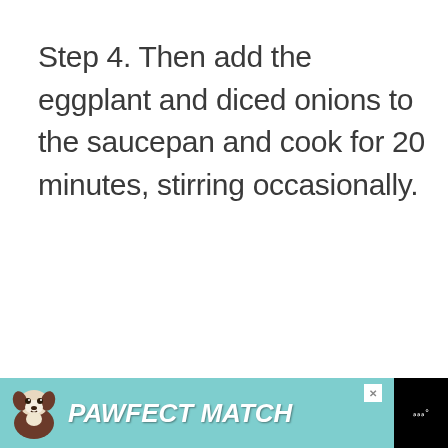Step 4. Then add the eggplant and diced onions to the saucepan and cook for 20 minutes, stirring occasionally.
[Figure (other): Advertisement banner for 'PAWFECT MATCH' featuring a dog image on a teal/turquoise background with white bold italic text, a close (X) button, and a dark logo section on the right.]